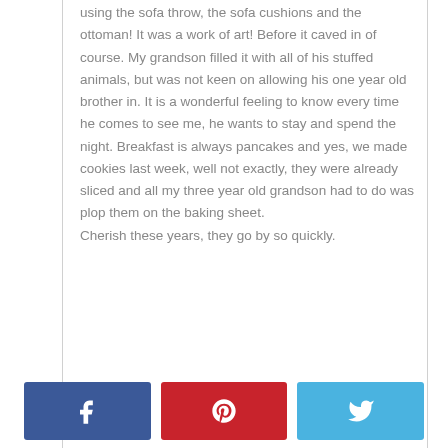using the sofa throw, the sofa cushions and the ottoman! It was a work of art! Before it caved in of course. My grandson filled it with all of his stuffed animals, but was not keen on allowing his one year old brother in. It is a wonderful feeling to know every time he comes to see me, he wants to stay and spend the night. Breakfast is always pancakes and yes, we made cookies last week, well not exactly, they were already sliced and all my three year old grandson had to do was plop them on the baking sheet.
Cherish these years, they go by so quickly.
[Figure (infographic): Social sharing buttons: Facebook (blue), Pinterest (red), Twitter (light blue)]